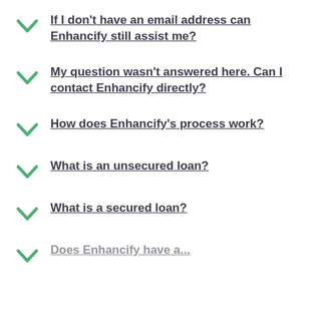If I don't have an email address can Enhancify still assist me?
My question wasn't answered here. Can I contact Enhancify directly?
How does Enhancify's process work?
What is an unsecured loan?
What is a secured loan?
Does Enhancify have a...